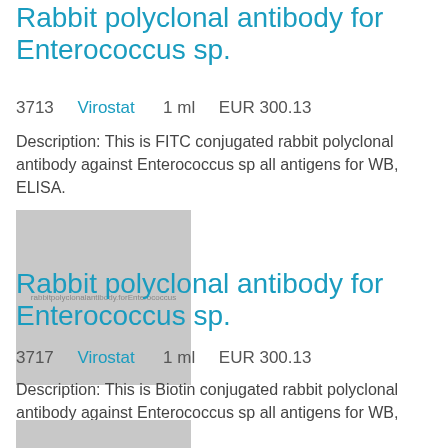Rabbit polyclonal antibody for Enterococcus sp.
3713    Virostat    1 ml    EUR 300.13
Description: This is FITC conjugated rabbit polyclonal antibody against Enterococcus sp all antigens for WB, ELISA.
[Figure (photo): Placeholder product image for rabbit polyclonal antibody for Enterococcus]
Rabbit polyclonal antibody for Enterococcus sp.
3717    Virostat    1 ml    EUR 300.13
Description: This is Biotin conjugated rabbit polyclonal antibody against Enterococcus sp all antigens for WB, ELISA.
[Figure (photo): Placeholder product image (partial) at bottom of page]